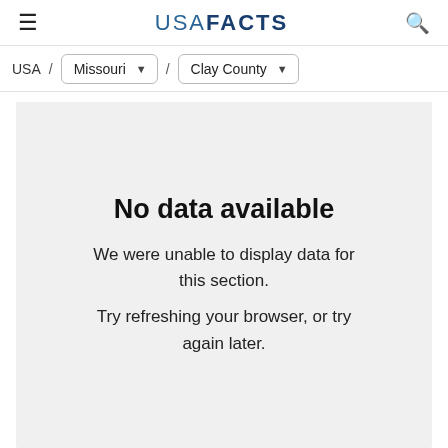USA FACTS
USA / Missouri / Clay County
No data available
We were unable to display data for this section.
Try refreshing your browser, or try again later.